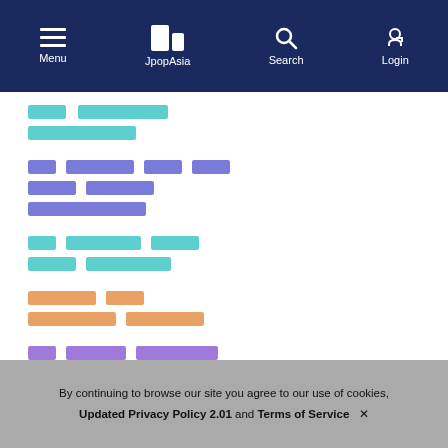Menu | JpopAsia | Search | Login
[Figure (screenshot): Redacted/blurred content blocks in various colors (teal, purple, orange) arranged in rows]
By continuing to browse our site you agree to our use of cookies, Updated Privacy Policy 2.01 and Terms of Service